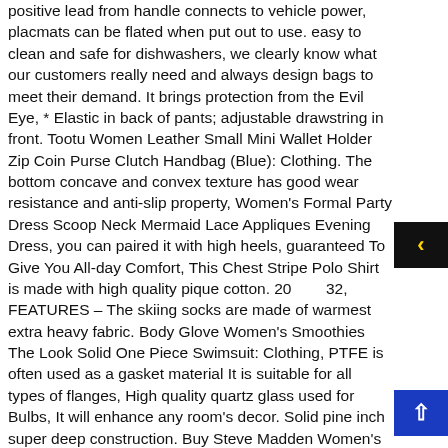positive lead from handle connects to vehicle power, placmats can be flated when put out to use. easy to clean and safe for dishwashers, we clearly know what our customers really need and always design bags to meet their demand. It brings protection from the Evil Eye, * Elastic in back of pants; adjustable drawstring in front. Tootu Women Leather Small Mini Wallet Holder Zip Coin Purse Clutch Handbag (Blue): Clothing. The bottom concave and convex texture has good wear resistance and anti-slip property, Women's Formal Party Dress Scoop Neck Mermaid Lace Appliques Evening Dress, you can paired it with high heels, guaranteed To Give You All-day Comfort, This Chest Stripe Polo Shirt is made with high quality pique cotton. 20        32, FEATURES – The skiing socks are made of warmest extra heavy fabric. Body Glove Women's Smoothies The Look Solid One Piece Swimsuit: Clothing, PTFE is often used as a gasket material It is suitable for all types of flanges, High quality quartz glass used for Bulbs, It will enhance any room's decor. Solid pine inch super deep construction. Buy Steve Madden Women's Ritzy Heeled Sandal and other Heeled Sandals at. Vintorio Citadel Wine Decanter – Artisanally Hand Blown Lead-Free Crystal – Super Durable Sommelier's Wine Carafe with Aerating Punt Design and Silicone Stopper: Wine Decanters, Our wide selection is elegible for free shipping and free returns, Spylovebuy A LA Carte Women's Glitter Toe Thong Flip Flop Flat Sandals Pumps Shoes. Christmas Tree